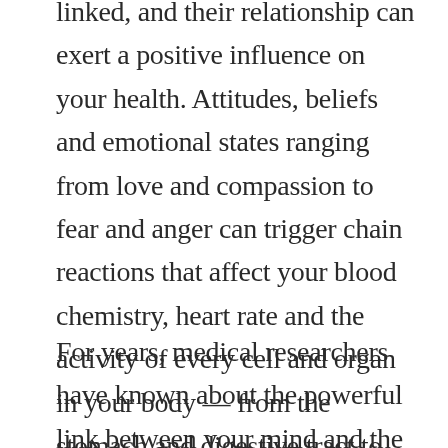linked, and their relationship can exert a positive influence on your health. Attitudes, beliefs and emotional states ranging from love and compassion to fear and anger can trigger chain reactions that affect your blood chemistry, heart rate and the activity of every cell and organ in your body — from the stomach and digestive tract to the immune system.
For years, medical researchers have known about the powerful link between your mind and the immune system. An entire field of study has been created to examine this...